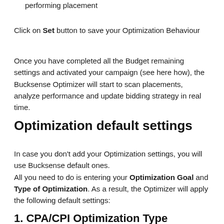performing placement
Click on Set button to save your Optimization Behaviour
Once you have completed all the Budget remaining settings and activated your campaign (see here how), the Bucksense Optimizer will start to scan placements, analyze performance and update bidding strategy in real time.
Optimization default settings
In case you don't add your Optimization settings, you will use Bucksense default ones.
All you need to do is entering your Optimization Goal and Type of Optimization. As a result, the Optimizer will apply the following default settings:
1. CPA/CPI Optimization Type